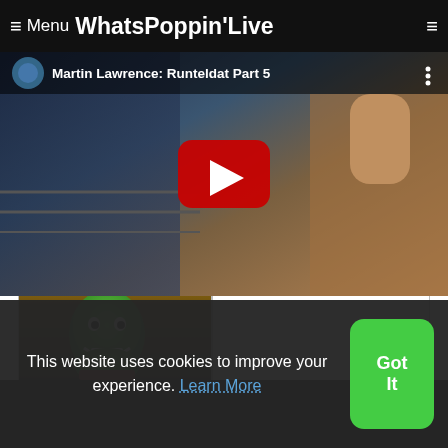≡ Menu WhatsPoppinʼLive
[Figure (screenshot): YouTube video embed showing 'Martin Lawrence: Runteldat Part 5' with a red play button overlay, video thumbnail shows a performer on stage with blue and warm lighting]
[Figure (photo): The Mask movie character with green face, smiling, against a brown/dark background]
This website uses cookies to improve your experience. Learn More
Got It